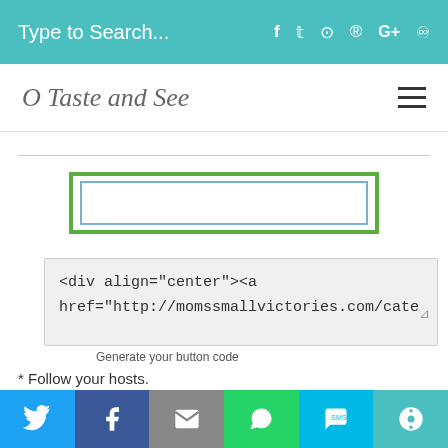Type to Search...
O Taste and See
[Figure (screenshot): Button preview with green outer border and blue inner border frame]
<div align="center"><a href="http://momssmallvictories.com/cate
Generate your button code
* Follow your hosts.
* Grab the Small Victories Sunday button and place it in your sidebar or the post you are linking up
* Share up to 3 of your favorite blog posts you want to share. Enter
Share buttons: Twitter, Facebook, Email, WhatsApp, SMS, More